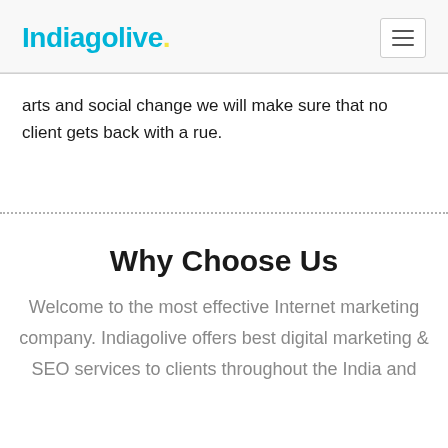Indiagolive.
arts and social change we will make sure that no client gets back with a rue.
Why Choose Us
Welcome to the most effective Internet marketing company. Indiagolive offers best digital marketing & SEO services to clients throughout the India and